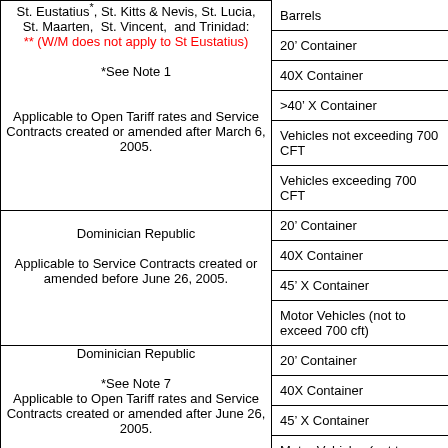| Destination / Notes | Equipment Type |
| --- | --- |
| St. Eustatius, St. Kitts & Nevis, St. Lucia, St. Maarten, St. Vincent, and Trinidad:
** (W/M does not apply to St Eustatius)
*See Note 1
Applicable to Open Tariff rates and Service Contracts created or amended after March 6, 2005. | Barrels |
|  | 20' Container |
|  | 40X Container |
|  | >40' X Container |
|  | Vehicles not exceeding 700 CFT |
|  | Vehicles exceeding 700 CFT |
| Dominician Republic
Applicable to Service Contracts created or amended before June 26, 2005. | 20' Container |
|  | 40X Container |
|  | 45' X Container |
|  | Motor Vehicles (not to exceed 700 cft) |
| Dominician Republic
*See Note 7
Applicable to Open Tariff rates and Service Contracts created or amended after June 26, 2005. | 20' Container |
|  | 40X Container |
|  | 45' X Container |
|  | Motor Vehicles (not to exceed 700 cft) |